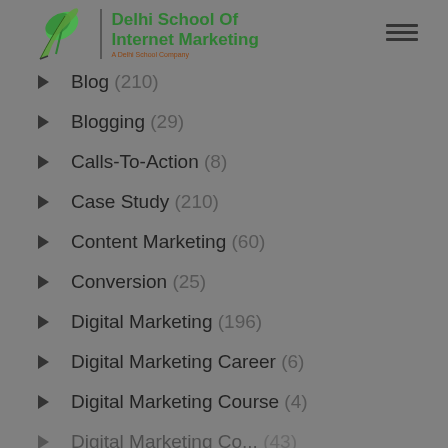[Figure (logo): Delhi School Of Internet Marketing logo with green leaf icon and green bold text, subtitle 'A Delhi School Company']
Blog (210)
Blogging (29)
Calls-To-Action (8)
Case Study (210)
Content Marketing (60)
Conversion (25)
Digital Marketing (196)
Digital Marketing Career (6)
Digital Marketing Course (4)
Digital Marketing Co... (43)